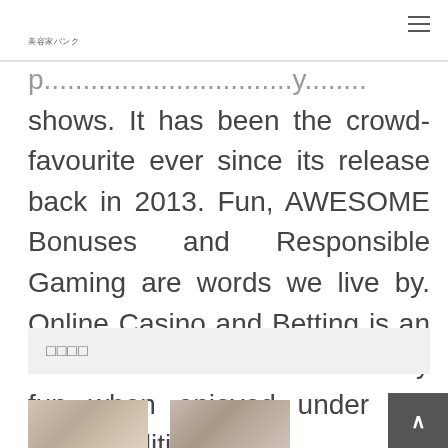美容家バンク
shows. It has been the crowd-favourite ever since its release back in 2013. Fun, AWESOME Bonuses and Responsible Gaming are words we live by. Online Casino and Betting is an entertainment form that is crazy fun when enjoyed under the right conditions.
□□□□
[Figure (photo): Interior room photo thumbnail 1]
[Figure (photo): Interior room photo thumbnail 2]